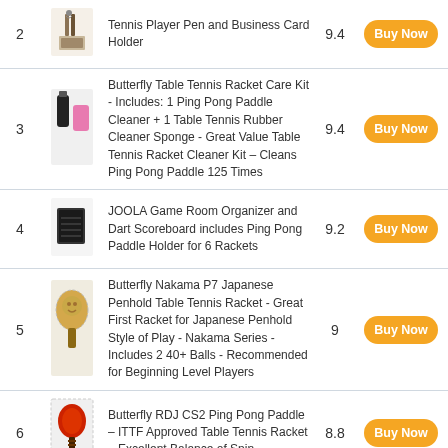| # | Image | Product | Score | Action |
| --- | --- | --- | --- | --- |
| 2 |  | Tennis Player Pen and Business Card Holder | 9.4 | Buy Now |
| 3 |  | Butterfly Table Tennis Racket Care Kit - Includes: 1 Ping Pong Paddle Cleaner + 1 Table Tennis Rubber Cleaner Sponge - Great Value Table Tennis Racket Cleaner Kit – Cleans Ping Pong Paddle 125 Times | 9.4 | Buy Now |
| 4 |  | JOOLA Game Room Organizer and Dart Scoreboard includes Ping Pong Paddle Holder for 6 Rackets | 9.2 | Buy Now |
| 5 |  | Butterfly Nakama P7 Japanese Penhold Table Tennis Racket - Great First Racket for Japanese Penhold Style of Play - Nakama Series - Includes 2 40+ Balls - Recommended for Beginning Level Players | 9 | Buy Now |
| 6 |  | Butterfly RDJ CS2 Ping Pong Paddle – ITTF Approved Table Tennis Racket – Excellent Balance of Spin | 8.8 | Buy Now |
| 7 |  | Butterfly RDJ CS1 Chinese Penhold Table Tennis Racket - Good Spin. |  | Buy Now |